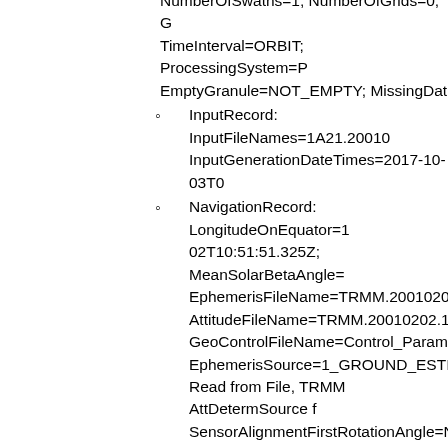NumberOfSwaths=1; NumberOfGrids=0; G... TimeInterval=ORBIT; ProcessingSystem=P... EmptyGranule=NOT_EMPTY; MissingDat...
InputRecord: InputFileNames=1A21.20010... InputGenerationDateTimes=2017-10-03T0...
NavigationRecord: LongitudeOnEquator=1... 02T10:51:51.325Z; MeanSolarBetaAngle=... EphemerisFileName=TRMM.20010202.10... AttitudeFileName=TRMM.20010202.1029... GeoControlFileName=Control_Parameters_... EphemerisSource=1_GROUND_ESTIMAT... Read from File, TRMM AttDetermSource f... SensorAlignmentFirstRotationAngle=Not A... SensorAlignmentSecondRotationAngle=No... SensorAlignmentThirdRotationAngle=Not ... SensorAlignmentFirstRotationAxis=Not Ap... SensorAlignmentSecondRotationAxis=Not... SensorAlignmentThirdRotationAxis=Not A...
FileInfo: DataFormatVersion=co; TKCodeB... FormatPackage=HDF5-1.8.9; BlueprintFile... BlueprintVersion=BV_58; TKIOVersion=3.... EndianType=LITTLE_ENDIAN;
JAXAInfo: GranuleFirstScanUTCDateTim... GranuleLastScanUTCDateTime=2001-02-0... FirstScanLat=-35.134098; FirstScanLon=5...